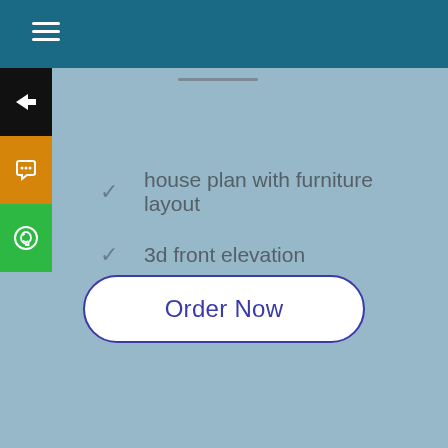Navigation menu header with hamburger icon
house plan with furniture layout
3d front elevation
2d elevation
Order Now